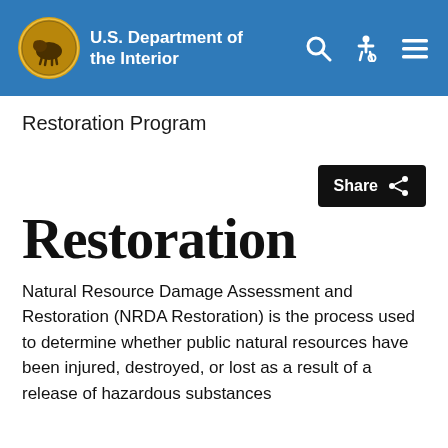U.S. Department of the Interior
Restoration Program
Restoration
Natural Resource Damage Assessment and Restoration (NRDA Restoration) is the process used to determine whether public natural resources have been injured, destroyed, or lost as a result of a release of hazardous substances